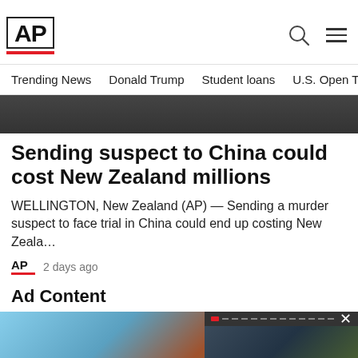[Figure (logo): AP News logo with red underline]
Trending News   Donald Trump   Student loans   U.S. Open Tenn
[Figure (photo): Hero image of a person in dark background]
Sending suspect to China could cost New Zealand millions
WELLINGTON, New Zealand (AP) — Sending a murder suspect to face trial in China could end up costing New Zeala…
AP  2 days ago
Ad Content
[Figure (photo): Ad content image showing hands holding equipment outdoors]
[Figure (screenshot): Video overlay showing Trump with caption: Trump search: What may come next in inquiry wi...]